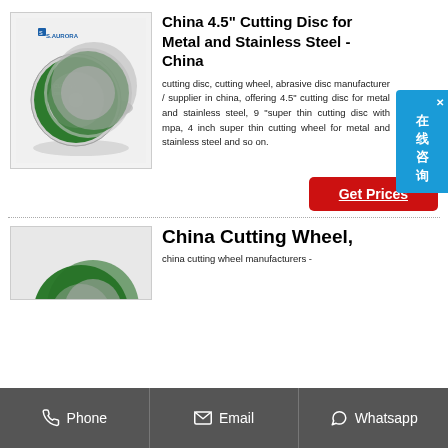[Figure (photo): Product image of cutting discs stacked, with green and black design, S.AURORA brand logo visible]
China 4.5" Cutting Disc for Metal and Stainless Steel - China
cutting disc, cutting wheel, abrasive disc manufacturer / supplier in china, offering 4.5" cutting disc for metal and stainless steel, 9 "super thin cutting disc with mpa, 4 inch super thin cutting wheel for metal and stainless steel and so on.
Get Prices
[Figure (photo): Partial product image of cutting discs with green design]
China Cutting Wheel,
china cutting wheel manufacturers -
Phone   Email   Whatsapp